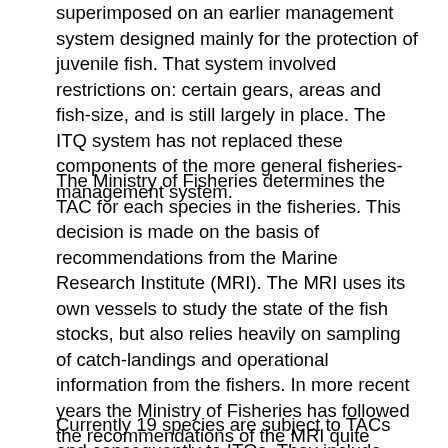superimposed on an earlier management system designed mainly for the protection of juvenile fish. That system involved restrictions on: certain gears, areas and fish-size, and is still largely in place. The ITQ system has not replaced these components of the more general fisheries-management system.
The Ministry of Fisheries determines the TAC for each species in the fisheries. This decision is made on the basis of recommendations from the Marine Research Institute (MRI). The MRI uses its own vessels to study the state of the fish stocks, but also relies heavily on sampling of catch-landings and operational information from the fishers. In more recent years the Ministry of Fisheries has followed the recommendations of the MRI quite closely. The fishery for cod plays a substantial role in the economy and therefore, not surprisingly, successive governments have been reluctant to curtail the cod TAC in accordance with the recommendations of the MRI. Only in the 1990s has the Ministry, with the general support of the vessel-owners, followed this advice closely, despite some political pressure to the contrary. In 1995 a TAC-rule, which sets the TAC for cod at 25% of the fishable stock, was established.
Currently 19 species are subject to TACs and consequently to ITQs. They include eleven demersal